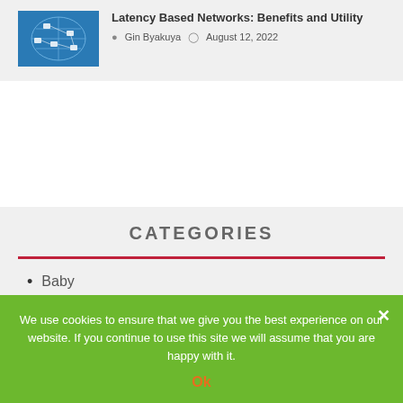[Figure (illustration): Blue network/globe map thumbnail with connected nodes]
Latency Based Networks: Benefits and Utility
Gin Byakuya   August 12, 2022
CATEGORIES
Baby
We use cookies to ensure that we give you the best experience on our website. If you continue to use this site we will assume that you are happy with it.
Ok